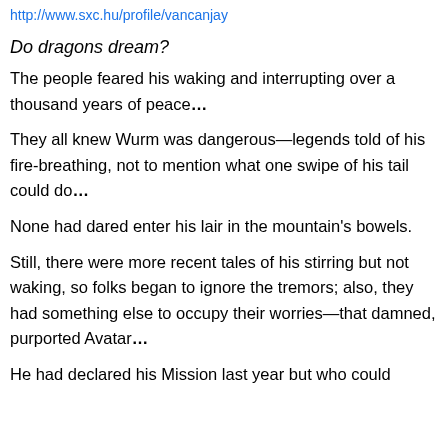http://www.sxc.hu/profile/vancanjay
Do dragons dream?
The people feared his waking and interrupting over a thousand years of peace…
They all knew Wurm was dangerous—legends told of his fire-breathing, not to mention what one swipe of his tail could do…
None had dared enter his lair in the mountain's bowels.
Still, there were more recent tales of his stirring but not waking, so folks began to ignore the tremors; also, they had something else to occupy their worries—that damned, purported Avatar…
He had declared his Mission last year but who could